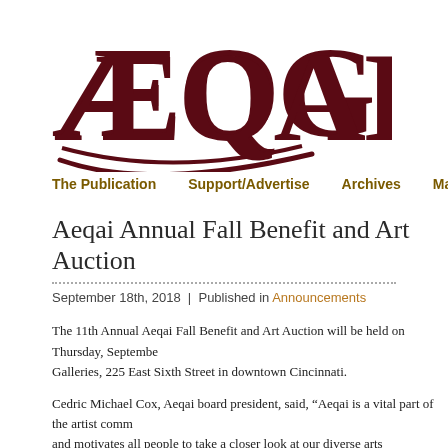[Figure (logo): AEQAI logo in dark red serif typeface with decorative swoosh beneath]
The Publication   Support/Advertise   Archives   March 2022
Aeqai Annual Fall Benefit and Art Auction
September 18th, 2018  |  Published in Announcements
The 11th Annual Aeqai Fall Benefit and Art Auction will be held on Thursday, September... Galleries, 225 East Sixth Street in downtown Cincinnati.
Cedric Michael Cox, Aeqai board president, said, “Aeqai is a vital part of the artist comm... and motivates all people to take a closer look at our diverse arts community and offer ins... culture on a local and national level.”